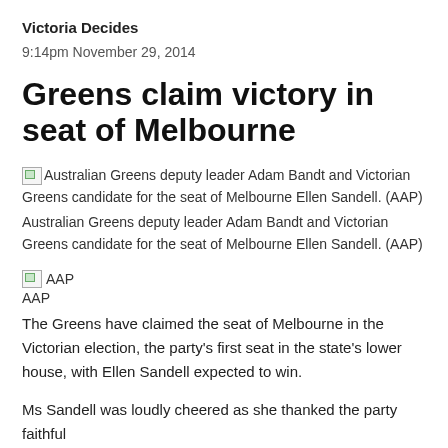Victoria Decides
9:14pm November 29, 2014
Greens claim victory in seat of Melbourne
[Figure (photo): Broken image placeholder with caption: Australian Greens deputy leader Adam Bandt and Victorian Greens candidate for the seat of Melbourne Ellen Sandell. (AAP)]
Australian Greens deputy leader Adam Bandt and Victorian Greens candidate for the seat of Melbourne Ellen Sandell. (AAP)
[Figure (photo): Small broken image with label AAP]
AAP
The Greens have claimed the seat of Melbourne in the Victorian election, the party's first seat in the state's lower house, with Ellen Sandell expected to win.
Ms Sandell was loudly cheered as she thanked the party faithful